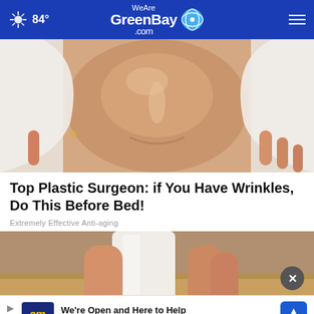84° WeAreGreenBay.com
[Figure (photo): Close-up of a woman's face with a white sheet mask being applied, face glistening with moisture]
Top Plastic Surgeon: if You Have Wrinkles, Do This Before Bed!
Extremely Effective Anti-aging
[Figure (photo): A hand holding a white bottle/device, partially visible]
We're Open and Here to Help CarMax